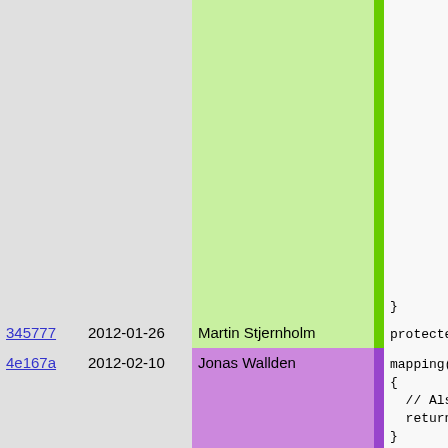| Hash | Date | Author | Bar | Code |
| --- | --- | --- | --- | --- |
|  |  |  |  | } |
| 345777 | 2012-01-26 | Martin Stjernholm |  | protected |
| 4e167a | 2012-02-10 | Jonas Wallden |  | mapping(Th
{
  //  Also
  return t
} |
| fc4039 | 2008-08-15 | Martin Stjernholm |  | local prot |
| a6e4a1 | 2000-07-09 | Per Hedbor |  | //! The ac
//! parame
//! is a l
//! the ha |
| 14179b | 1997-01-29 | Per Hedbor |  | { |
| 9567c1 | 2001-02-23 | Martin Stjernholm |  | THREAD_W
mixed h, |
| aa7872 | 2001-08-24 | Martin Stjernholm |  | set u an |